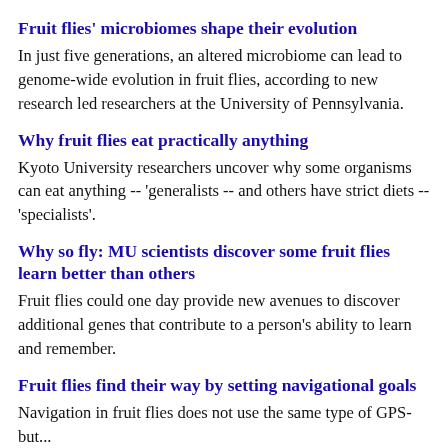Fruit flies' microbiomes shape their evolution
In just five generations, an altered microbiome can lead to genome-wide evolution in fruit flies, according to new research led researchers at the University of Pennsylvania.
Why fruit flies eat practically anything
Kyoto University researchers uncover why some organisms can eat anything -- 'generalists -- and others have strict diets -- 'specialists'.
Why so fly: MU scientists discover some fruit flies learn better than others
Fruit flies could one day provide new avenues to discover additional genes that contribute to a person's ability to learn and remember.
Fruit flies find their way by setting navigational goals
Navigation in fruit flies does not use the same type of GPS-but...